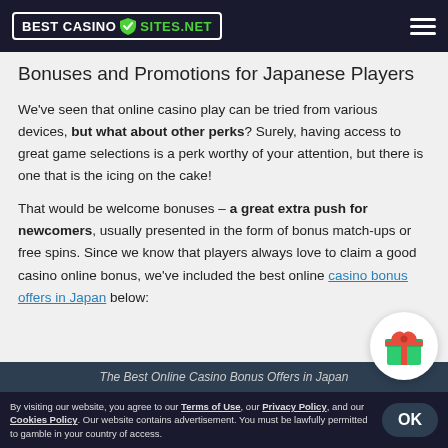BEST CASINO SITES.NET
Bonuses and Promotions for Japanese Players
We've seen that online casino play can be tried from various devices, but what about other perks? Surely, having access to great game selections is a perk worthy of your attention, but there is one that is the icing on the cake!
That would be welcome bonuses – a great extra push for newcomers, usually presented in the form of bonus match-ups or free spins. Since we know that players always love to claim a good casino online bonus, we've included the best online casino bonus offers in Japan below:
[Figure (illustration): Gift box icon in a white circle, showing a green gift with red ribbon and bow]
The Best Online Casino Bonus Offers in Japan
By visiting our website, you agree to our Terms of Use, our Privacy Policy, and our Cookies Policy. Our website contains advertisement. You must be lawfully permitted to gamble in your country of access.